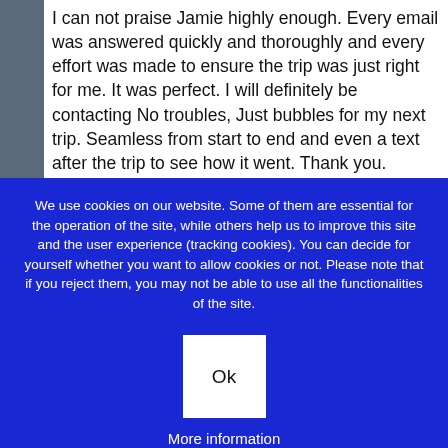I can not praise Jamie highly enough. Every email was answered quickly and thoroughly and every effort was made to ensure the trip was just right for me. It was perfect. I will definitely be contacting No troubles, Just bubbles for my next trip. Seamless from start to end and even a text after the trip to see how it went. Thank you.
We use cookies on our website. Some of them are essential for the operation of the site, while others help us to improve this site and the user experience (tracking cookies). You can decide for yourself whether you want to allow cookies or not. Please note that if you reject them, you may not be able to use all the functionalities of the site.
Ok
More information